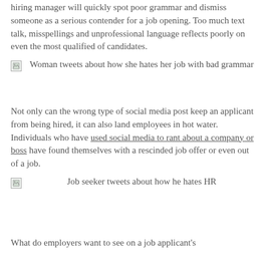hiring manager will quickly spot poor grammar and dismiss someone as a serious contender for a job opening. Too much text talk, misspellings and unprofessional language reflects poorly on even the most qualified of candidates.
[Figure (photo): Broken image placeholder with caption: Woman tweets about how she hates her job with bad grammar]
Woman tweets about how she hates her job with bad grammar
Not only can the wrong type of social media post keep an applicant from being hired, it can also land employees in hot water. Individuals who have used social media to rant about a company or boss have found themselves with a rescinded job offer or even out of a job.
[Figure (photo): Broken image placeholder with caption: Job seeker tweets about how he hates HR]
Job seeker tweets about how he hates HR
What do employers want to see on a job applicant's